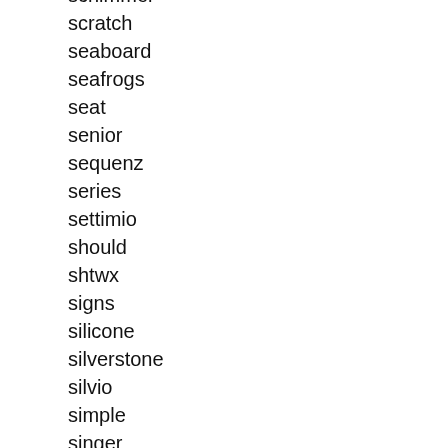schimmel
scratch
seaboard
seafrogs
seat
senior
sequenz
series
settimio
should
shtwx
signs
silicone
silverstone
silvio
simple
singer
slightly
slim
soberano